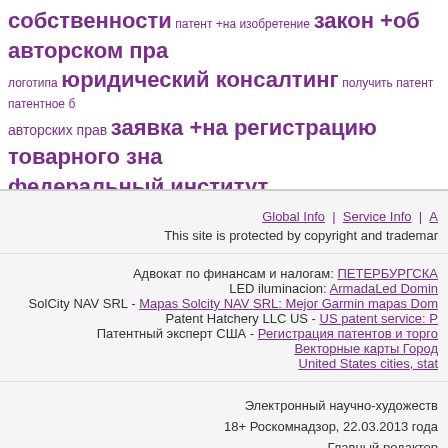[Figure (other): Tag cloud of Russian legal/IP terms in purple, including words like собственности, патент, закон, авторском, юридический консалтинг, логотипа, получить патент, авторских прав, заявка на регистрацию товарного знака, федеральный институт промышленной собственности]
Global Info | Service Info | A
This site is protected by copyright and trademark
Адвокат по финансам и налогам: ПЕТЕРБУРГСКА
LED iluminacion: ArmadaLed Domin
SolCity NAV SRL - Mapas Solcity NAV SRL: Mejor Garmin mapas Dom
Patent Hatchery LLC US - US patent service: P
Патентный эксперт США - Регистрация патентов и торгo
Векторные карты Город
United States cities, stat
Электронный научно-художеств
18+ Роскомнадзор, 22.03.2013 года
Главный редактор
Адрес редакции: Са
Телефоны: +7.921.090.76